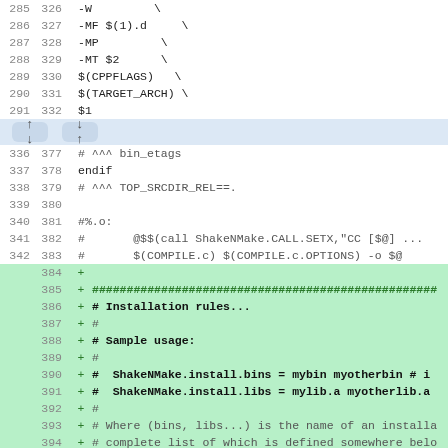285 326   -W \
286 327   -MF $(1).d \
287 328   -MP \
288 329   -MT $2 \
289 330   $(CPPFLAGS) \
290 331   $(TARGET_ARCH) \
291 332   $1
[separator with up/down arrows]
336 377   # ^^^ bin_etags
337 378   endif
338 379   # ^^^ TOP_SRCDIR_REL==.
339 380
340 381   #%.o:
341 382   #   @$$(call ShakeNMake.CALL.SETX,"CC [$@] ...
342 383   #   $(COMPILE.c) $(COMPILE.c.OPTIONS) -o $@
384 +
385 + ###################################################
386 + # Installation rules...
387 + #
388 + # Sample usage:
389 + #
390 + #  ShakeNMake.install.bins = mybin myotherbin # i...
391 + #  ShakeNMake.install.libs = mylib.a myotherlib.a
392 + #
393 + # Where (bins, libs...) is the name of an installa...
394 + # complete list of which is defined somewhere belo...
395 + #
396 + # Then `make install` will try to DTRT with those.
397 + #